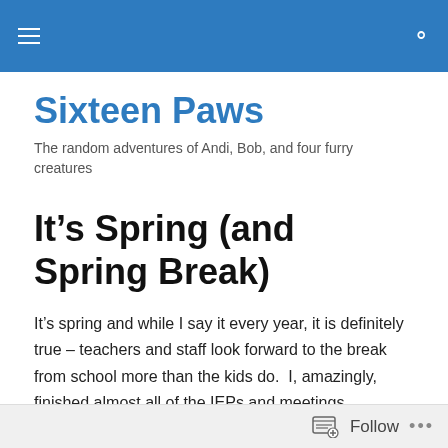Sixteen Paws — navigation bar
Sixteen Paws
The random adventures of Andi, Bob, and four furry creatures
It’s Spring (and Spring Break)
It’s spring and while I say it every year, it is definitely true – teachers and staff look forward to the break from school more than the kids do.  I, amazingly, finished almost all of the IEPs and meetings, completed my reevaluations and managed to get caught up on most everything. Just in time
Follow